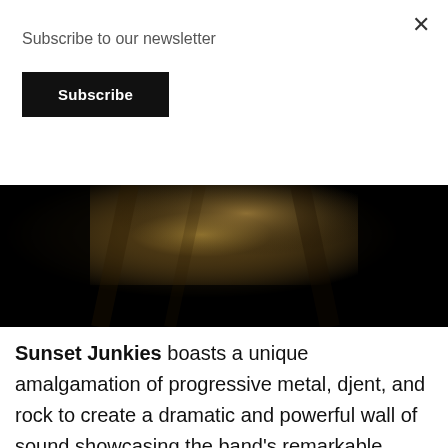Subscribe to our newsletter
Subscribe
[Figure (photo): Dark atmospheric photo, mostly black with golden/sepia-toned light breaking through what appears to be a cloudy or smoky scene, suggesting dramatic moody imagery for a metal band.]
Sunset Junkies boasts a unique amalgamation of progressive metal, djent, and rock to create a dramatic and powerful wall of sound showcasing the band's remarkable diversity and